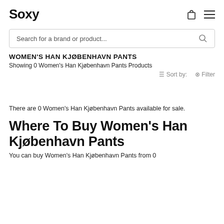Soxy
Search for a brand or product...
WOMEN'S HAN KJØBENHAVN PANTS
Showing 0 Women's Han Kjøbenhavn Pants Products
≡ Sort by:   ⇄ Filter
There are 0 Women's Han Kjøbenhavn Pants available for sale.
Where To Buy Women's Han Kjøbenhavn Pants
You can buy Women's Han Kjøbenhavn Pants from 0 available retailers.